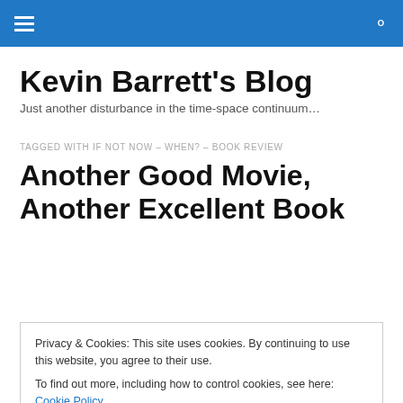Kevin Barrett's Blog — navigation bar
Kevin Barrett's Blog
Just another disturbance in the time-space continuum…
TAGGED WITH IF NOT NOW – WHEN? – BOOK REVIEW
Another Good Movie, Another Excellent Book
Privacy & Cookies: This site uses cookies. By continuing to use this website, you agree to their use.
To find out more, including how to control cookies, see here: Cookie Policy
Close and accept